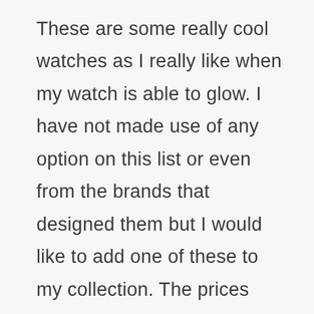These are some really cool watches as I really like when my watch is able to glow. I have not made use of any option on this list or even from the brands that designed them but I would like to add one of these to my collection. The prices look fair and compared to what I have been using it sure would be very affordable for me. I like that water-resistance feature as I should have no